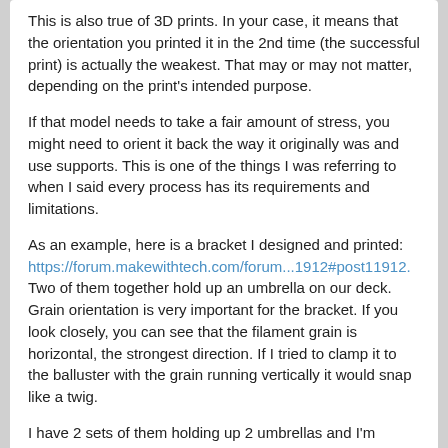This is also true of 3D prints. In your case, it means that the orientation you printed it in the 2nd time (the successful print) is actually the weakest. That may or may not matter, depending on the print's intended purpose.

If that model needs to take a fair amount of stress, you might need to orient it back the way it originally was and use supports. This is one of the things I was referring to when I said every process has its requirements and limitations.

As an example, here is a bracket I designed and printed: https://forum.makewithtech.com/forum...1912#post11912. Two of them together hold up an umbrella on our deck. Grain orientation is very important for the bracket. If you look closely, you can see that the filament grain is horizontal, the strongest direction. If I tried to clamp it to the balluster with the grain running vertically it would snap like a twig.

I have 2 sets of them holding up 2 umbrellas and I'm actually currently printing a 3rd set for another umbrella.
Likes 1
Eric_N
Member
Join Date: Apr 2021   Posts: 12